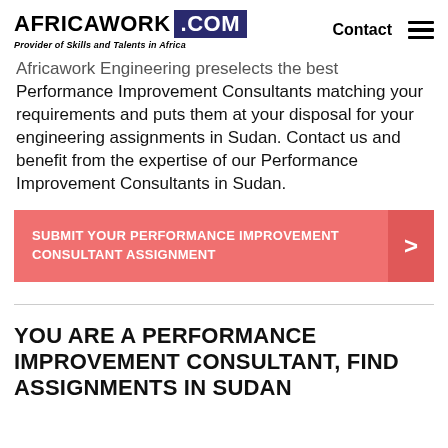AFRICAWORK .COM — Provider of Skills and Talents in Africa — Contact
Africawork Engineering preselects the best Performance Improvement Consultants matching your requirements and puts them at your disposal for your engineering assignments in Sudan. Contact us and benefit from the expertise of our Performance Improvement Consultants in Sudan.
[Figure (infographic): Coral/salmon colored call-to-action button reading: SUBMIT YOUR PERFORMANCE IMPROVEMENT CONSULTANT ASSIGNMENT with a right-arrow chevron on the darker right block]
YOU ARE A PERFORMANCE IMPROVEMENT CONSULTANT, FIND ASSIGNMENTS IN SUDAN